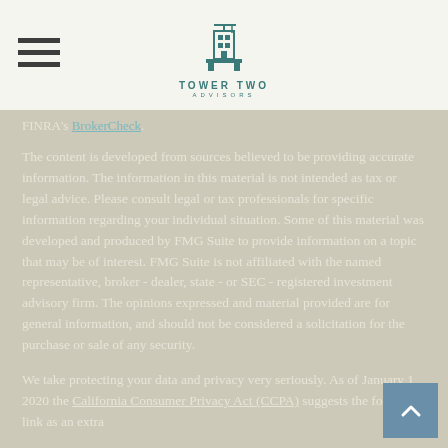Tower Two Advisors
FINRA's BrokerCheck.
The content is developed from sources believed to be providing accurate information. The information in this material is not intended as tax or legal advice. Please consult legal or tax professionals for specific information regarding your individual situation. Some of this material was developed and produced by FMG Suite to provide information on a topic that may be of interest. FMG Suite is not affiliated with the named representative, broker - dealer, state - or SEC - registered investment advisory firm. The opinions expressed and material provided are for general information, and should not be considered a solicitation for the purchase or sale of any security.
We take protecting your data and privacy very seriously. As of January 1, 2020 the California Consumer Privacy Act (CCPA) suggests the following link as an extra